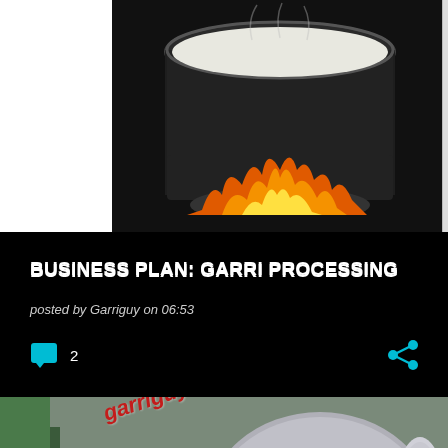[Figure (photo): Large cooking pot on fire, with white liquid inside, photographed from above. Black background on left, white space on left edge.]
BUSINESS PLAN: GARRI PROCESSING
posted by Garriguy on 06:53
[Figure (photo): Garri processing machinery — a rotating drum/roaster on a metal frame, with a watermark 'garriguy007@gmail...' in red italic text overlaid on the image.]